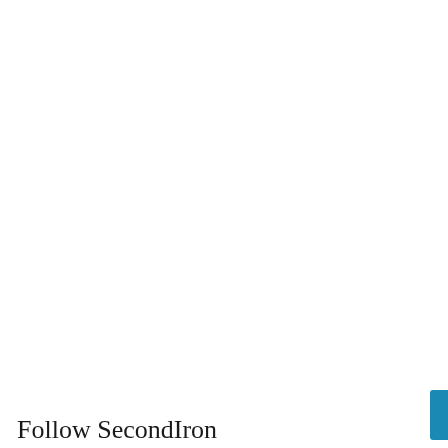[Figure (other): Search input text field with rounded corners and light border]
Search
Follow SecondIron